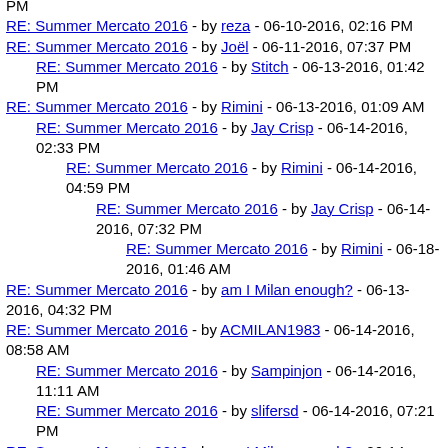RE: Summer Mercato 2016 - by reza - 06-10-2016, 02:16 PM
RE: Summer Mercato 2016 - by Joël - 06-11-2016, 07:37 PM
RE: Summer Mercato 2016 - by Stitch - 06-13-2016, 01:42 PM
RE: Summer Mercato 2016 - by Rimini - 06-13-2016, 01:09 AM
RE: Summer Mercato 2016 - by Jay Crisp - 06-14-2016, 02:33 PM
RE: Summer Mercato 2016 - by Rimini - 06-14-2016, 04:59 PM
RE: Summer Mercato 2016 - by Jay Crisp - 06-14-2016, 07:32 PM
RE: Summer Mercato 2016 - by Rimini - 06-18-2016, 01:46 AM
RE: Summer Mercato 2016 - by am I Milan enough? - 06-13-2016, 04:32 PM
RE: Summer Mercato 2016 - by ACMILAN1983 - 06-14-2016, 08:58 AM
RE: Summer Mercato 2016 - by Sampinjon - 06-14-2016, 11:11 AM
RE: Summer Mercato 2016 - by slifersd - 06-14-2016, 07:21 PM
RE: Summer Mercato 2016 - by am I Milan enough? - 06-14-2016, 10:46 AM